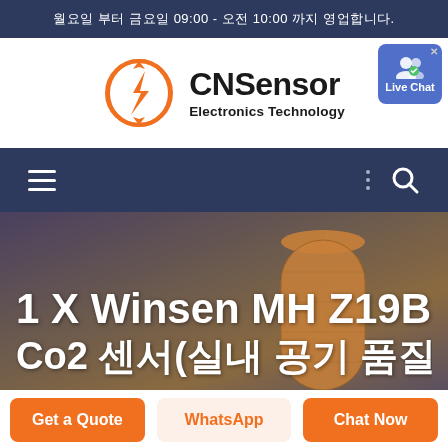월요일 부터 금요일 09:00 - 오전 10:00 까지 영업합니다.
[Figure (logo): CNSensor Electronics Technology logo with orange lightning bolt in circular arrow icon]
Live Chat
[Figure (infographic): Navigation bar with hamburger menu icon on left, dots menu and search icon on right, dark navy background]
1 X Winsen MH Z19B Co2 센서(실내 공기 품질)
[Figure (photo): City skyline background photo with tall cylindrical tower building, dusk lighting with orange and purple tones]
Get a Quote
WhatsApp
Chat Now